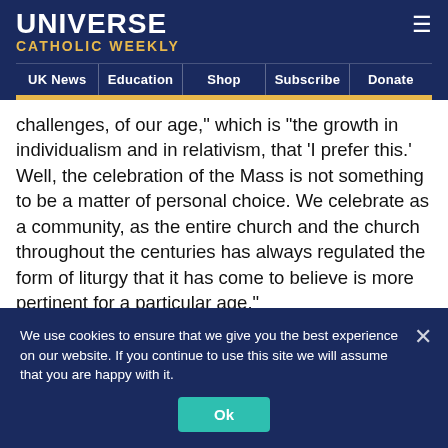UNIVERSE CATHOLIC WEEKLY
UK News | Education | Shop | Subscribe | Donate
challenges, of our age," which is “the growth in individualism and in relativism, that ‘I prefer this.’ Well, the celebration of the Mass is not something to be a matter of personal choice. We celebrate as a community, as the entire church and the church throughout the centuries has always regulated the form of liturgy that it has come to believe is more pertinent for a particular age."
Vatican News also asked him where he was and what he was thinking when he heard that Pope Francis announced
We use cookies to ensure that we give you the best experience on our website. If you continue to use this site we will assume that you are happy with it.